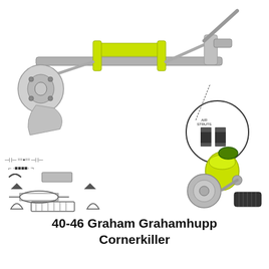[Figure (engineering-diagram): Two automotive suspension/axle assembly diagrams: top image shows a complete front axle assembly with yellow-painted steering rack and tie rods, with a circular inset showing two air struts labeled 'AIR STRUTS'. Bottom-left shows an exploded parts diagram of suspension components including brackets, bushings, stabilizer bar, and axle housing. Bottom-right shows a close-up photo of an assembled suspension corner with air spring (yellow), hub/wheel bearing, and steering components.]
40-46 Graham Grahamhupp Cornerkiller